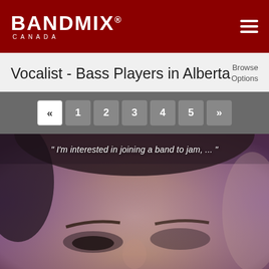BANDMIX® CANADA
Vocalist - Bass Players in Alberta
Browse Options
« 1 2 3 4 5 »
[Figure (photo): Close-up photo of a man's face (forehead and eyes visible), with purple-tinted lighting, overlaid with the text: " I'm interested in joining a band to jam, ... "]